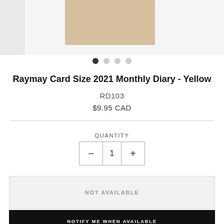[Figure (photo): Partial product photos at top of page showing card size diary items]
Raymay Card Size 2021 Monthly Diary - Yellow
RD103
$9.95 CAD
QUANTITY
1
NOT AVAILABLE
NOTIFY ME WHEN AVAILABLE